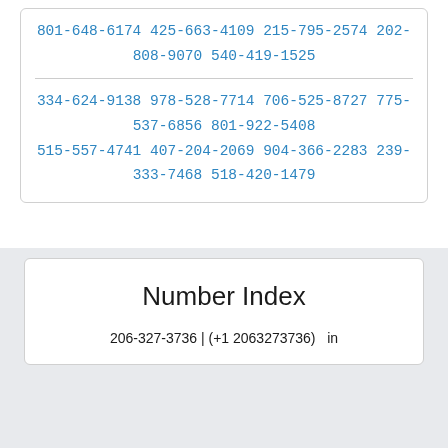801-648-6174 425-663-4109 215-795-2574 202-808-9070 540-419-1525
334-624-9138 978-528-7714 706-525-8727 775-537-6856 801-922-5408 515-557-4741 407-204-2069 904-366-2283 239-333-7468 518-420-1479
Number Index
206-327-3736 | (+1 2063273736)   in